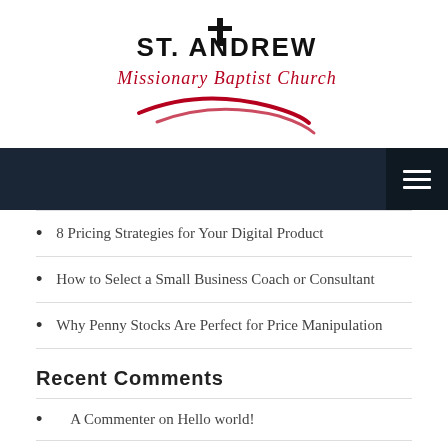[Figure (logo): St. Andrew Missionary Baptist Church logo with cross, text, and red swoosh arc]
[Figure (other): Dark navy navigation bar with hamburger menu icon on the right]
8 Pricing Strategies for Your Digital Product
How to Select a Small Business Coach or Consultant
Why Penny Stocks Are Perfect for Price Manipulation
Recent Comments
A Commenter on Hello world!